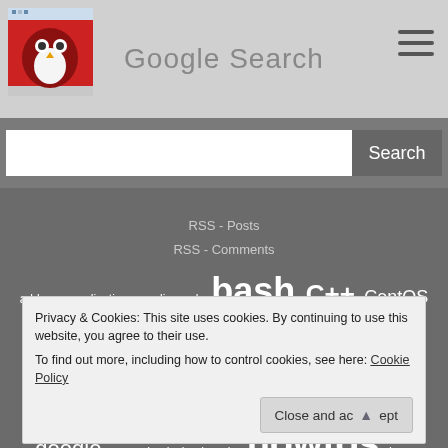Google Search
[Figure (logo): Website logo with owl/bird mascot in red and white, pixelated style]
RSS - Posts
RSS - Comments
address applications audio awk bash C++ CentOS crystalxp crystalxp.net cut cyprus docker fedora ffmpeg find git GNU/Linux google grep hash hash code howtos ieee Informatics java Latex limassol linux map mysql nicosia Olympiad
Privacy & Cookies: This site uses cookies. By continuing to use this website, you agree to their use.
To find out more, including how to control cookies, see here: Cookie Policy
Close and accept